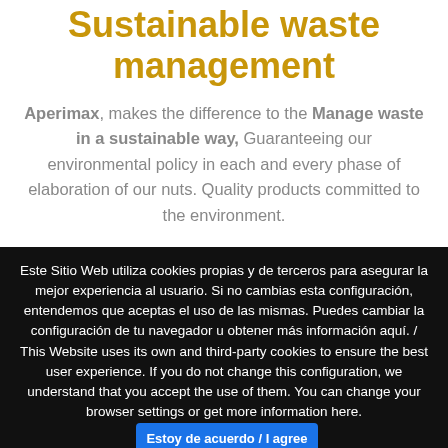Sustainable waste management
Aperimax, makes the difference to the Manage waste in a sustainable way, Guaranteeing our environmental policy in each and every phase of elaboration of our nuts. Quality products committed to the environment.
Este Sitio Web utiliza cookies propias y de terceros para asegurar la mejor experiencia al usuario. Si no cambias esta configuración, entendemos que aceptas el uso de las mismas. Puedes cambiar la configuración de tu navegador u obtener más información aquí. / This Website uses its own and third-party cookies to ensure the best user experience. If you do not change this configuration, we understand that you accept the use of them. You can change your browser settings or get more information here.
Estoy de acuerdo / I agree
Leer más / Read more